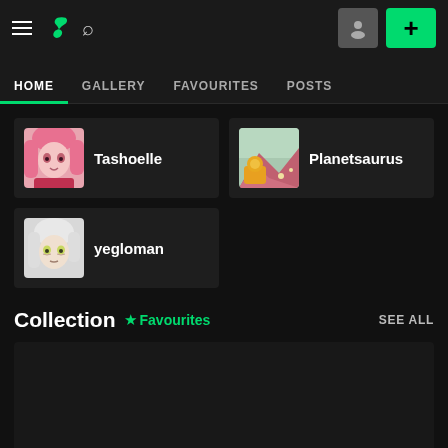≡ DeviantArt logo 🔍 [user icon] [+]
HOME | GALLERY | FAVOURITES | POSTS
[Figure (screenshot): User watch card: Tashoelle — anime-style pink-haired character avatar]
[Figure (screenshot): User watch card: Planetsaurus — colorful fantasy scene avatar]
[Figure (screenshot): User watch card: yegloman — pale anime character avatar with white hair]
Collection ★ Favourites  SEE ALL
[Figure (screenshot): Collection/Favourites content area (dark, empty/loading)]